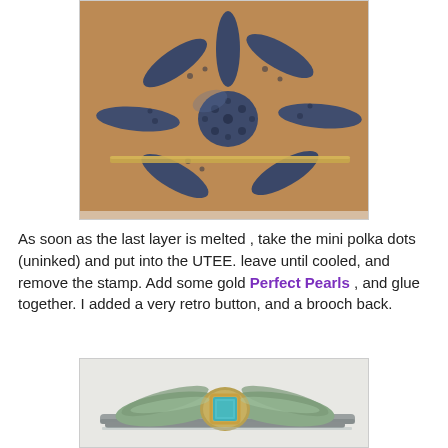[Figure (photo): Close-up photo of a dark blue/grey starfish-shaped decorative piece on a brown background, with a gold pin/bar visible underneath. The starfish shape has 7 arms with textured, bumpy surface.]
As soon as the last layer is melted , take the mini polka dots (uninked) and put into the UTEE. leave until cooled, and remove the stamp. Add some gold Perfect Pearls , and glue together. I added a very retro button, and a brooch back.
[Figure (photo): Photo of a finished brooch/hair clip showing a dragonfly-like decorative piece with a turquoise square button in the center, greenish-gold metallic finish, attached to a hair clip/barrette.]